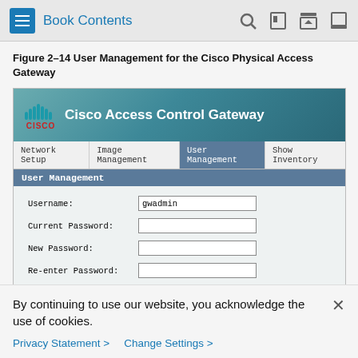Book Contents
Figure 2-14 User Management for the Cisco Physical Access Gateway
[Figure (screenshot): Cisco Access Control Gateway web interface showing the User Management page with fields for Username (gwadmin), Current Password, New Password, Re-enter Password, and Update/Cancel buttons. Navigation tabs include Network Setup, Image Management, User Management, and Show Inventory.]
By continuing to use our website, you acknowledge the use of cookies.
Privacy Statement >   Change Settings >